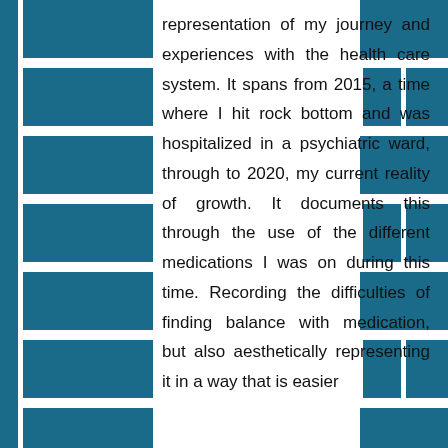representation of my journey and experiences with the health care system. It spans from 2015, a time where I hit rock bottom and was hospitalized in a psychiatric ward, through to 2020, my current reality of growth. It documents this through the use of the different medications I was on during this time. Recording the difficulties of finding balance with medication, but also aesthetically representing it in a way that is easier